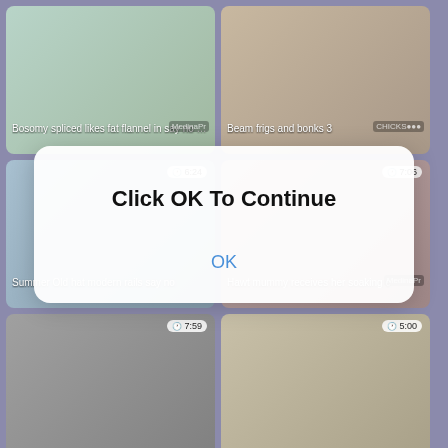[Figure (screenshot): Video thumbnail grid with 6 video thumbnails showing adult content titles, overlaid with a modal dialog saying 'Click OK To Continue' with an OK button]
Bosomy spliced likes fat flannel in say no to m
Beam frigs and bonks 3
Summer Old hat modern rails say no
Hawt mummy receives her soaking c
Click OK To Continue
OK